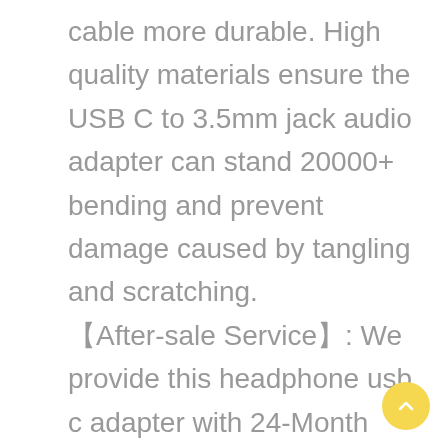cable more durable. High quality materials ensure the USB C to 3.5mm jack audio adapter can stand 20000+ bending and prevent damage caused by tangling and scratching. 【After-sale Service】: We provide this headphone usb c adapter with 24-Month Warranty. Any question, do not hesitate to contact our customer support team via Amazon, we will response within 24 hours.